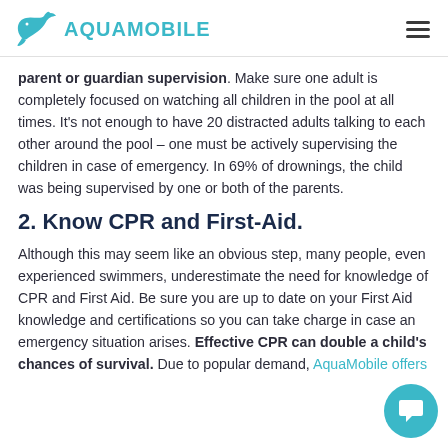AQUAMOBILE
parent or guardian supervision. Make sure one adult is completely focused on watching all children in the pool at all times. It’s not enough to have 20 distracted adults talking to each other around the pool – one must be actively supervising the children in case of emergency. In 69% of drownings, the child was being supervised by one or both of the parents.
2. Know CPR and First-Aid.
Although this may seem like an obvious step, many people, even experienced swimmers, underestimate the need for knowledge of CPR and First Aid. Be sure you are up to date on your First Aid knowledge and certifications so you can take charge in case an emergency situation arises. Effective CPR can double a child’s chances of survival. Due to popular demand, AquaMobile offers